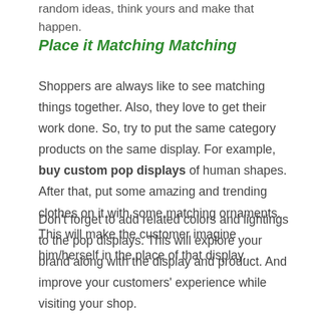random ideas, think yours and make that happen.
Place it Matching Matching
Shoppers are always like to see matching things together. Also, they love to get their work done. So, try to put the same category products on the same display. For example, buy custom pop displays of human shapes. After that, put some amazing and trending clothes on it with some matching ornaments. This will make the customer imagine him/herself in the place of that display.
Don’t forget to add related colors and lightings to the pop displays. This will explore your brand along with the display and product. And improve your customers’ experience while visiting your shop.